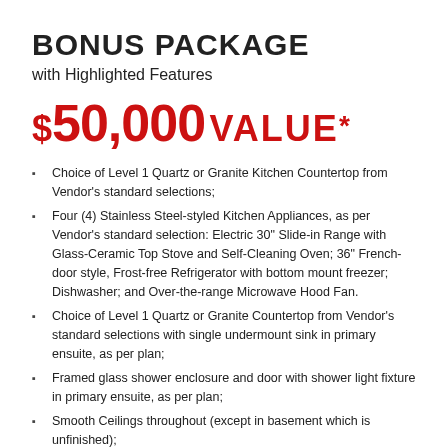BONUS PACKAGE with Highlighted Features
$50,000 VALUE*
Choice of Level 1 Quartz or Granite Kitchen Countertop from Vendor's standard selections;
Four (4) Stainless Steel-styled Kitchen Appliances, as per Vendor's standard selection: Electric 30" Slide-in Range with Glass-Ceramic Top Stove and Self-Cleaning Oven; 36" French-door style, Frost-free Refrigerator with bottom mount freezer; Dishwasher; and Over-the-range Microwave Hood Fan.
Choice of Level 1 Quartz or Granite Countertop from Vendor's standard selections with single undermount sink in primary ensuite, as per plan;
Framed glass shower enclosure and door with shower light fixture in primary ensuite, as per plan;
Smooth Ceilings throughout (except in basement which is unfinished);
Two hundred (200) amp electrical service with heavy duty